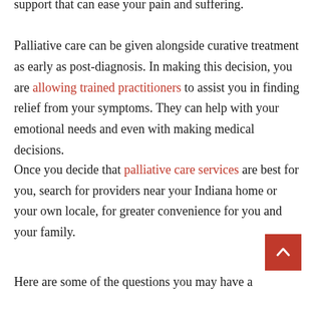support that can ease your pain and suffering. Palliative care can be given alongside curative treatment as early as post-diagnosis. In making this decision, you are allowing trained practitioners to assist you in finding relief from your symptoms. They can help with your emotional needs and even with making medical decisions.
Once you decide that palliative care services are best for you, search for providers near your Indiana home or your own locale, for greater convenience for you and your family.
Here are some of the questions you may have about the service: